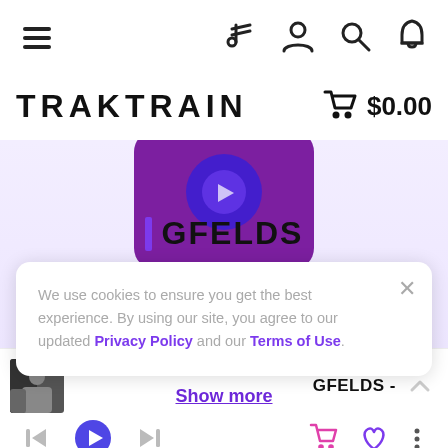Navigation bar with hamburger menu, music note, user, search, and bell icons
TRAKTRAIN $0.00
[Figure (screenshot): Purple album artwork for GFELDS with reflection below, partially visible]
GFELDS
We use cookies to ensure you get the best experience. By using our site, you agree to our updated Privacy Policy and our Terms of Use.
Show more
GFELDS - player controls with skip back, play, skip forward, cart, heart, and more icons